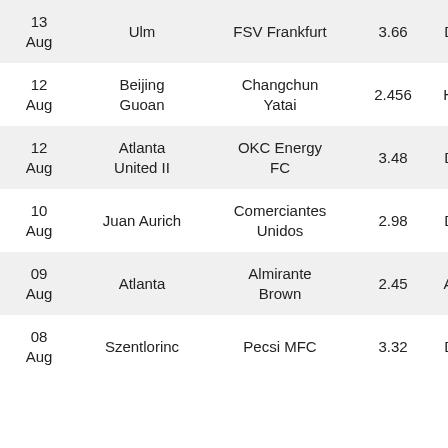| Date | Home | Away | Odds | Result |
| --- | --- | --- | --- | --- |
| 13 Aug | Ulm | FSV Frankfurt | 3.66 | DRA |
| 12 Aug | Beijing Guoan | Changchun Yatai | 2.456 | HON |
| 12 Aug | Atlanta United II | OKC Energy FC | 3.48 | DRA |
| 10 Aug | Juan Aurich | Comerciantes Unidos | 2.98 | DRA |
| 09 Aug | Atlanta | Almirante Brown | 2.45 | AWA |
| 08 Aug | Szentlorinc | Pecsi MFC | 3.32 | DRA |